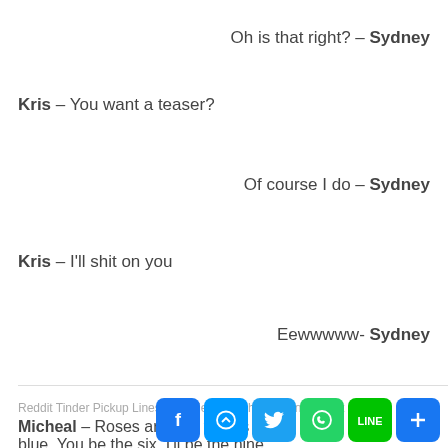Oh is that right? – Sydney
Kris – You want a teaser?
Of course I do – Sydney
Kris – I'll shit on you
Eewwwww- Sydney
Reddit Tinder Pickup Lines / Simple / Oldschool / Funny / Sex
Micheal – Roses are red, violets are blue, You be the six, I'll be the nine